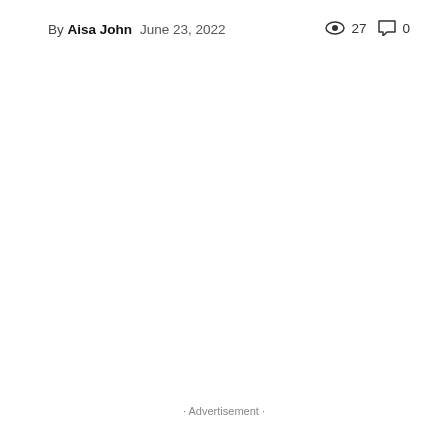By Aisa John  June 23, 2022   👁 27  💬 0
· Advertisement ·
· Advertisement ·
[ad_1]
Turkish police and intelligence services (MIT), in cooperation with their counterparts in Israel, recently dismantled an Iranian network that had planned to attack Israeli citizens in Turkey, according to...